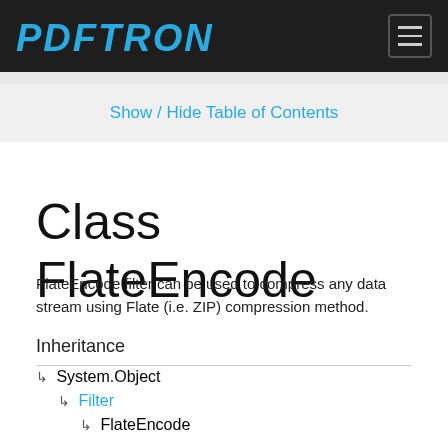PDFTRON
Show / Hide Table of Contents
Class FlateEncode
FlateEncode filter can be used to compress any data stream using Flate (i.e. ZIP) compression method.
Inheritance
↳ System.Object
↳ Filter
↳ FlateEncode
Implements